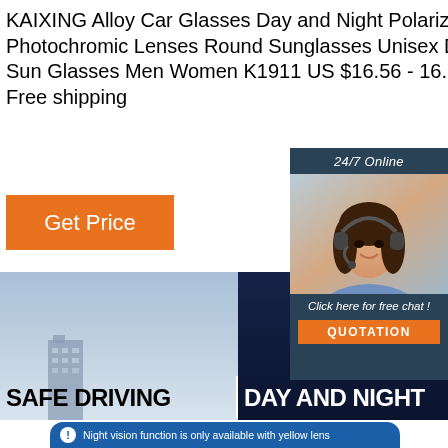KAIXING Alloy Car Glasses Day and Night Polarized Photochromic Lenses Round Sunglasses Unisex Driving Sun Glasses Men Women K1911 US $16.56 - 16.65 Piece Free shipping
Get Price
[Figure (photo): Chat widget with photo of woman wearing headset, '24/7 Online' header, 'Click here for free chat!' text, and orange QUOTATION button]
[Figure (photo): Product advertisement banner with split background: left side light blue sky with building silhouette, right side dark navy blue. Text reads 'SAFE DRIVING | DAY AND NIGHT' with TOP logo. Bottom notification bar reads 'Night vision function is only available with yellow lens']